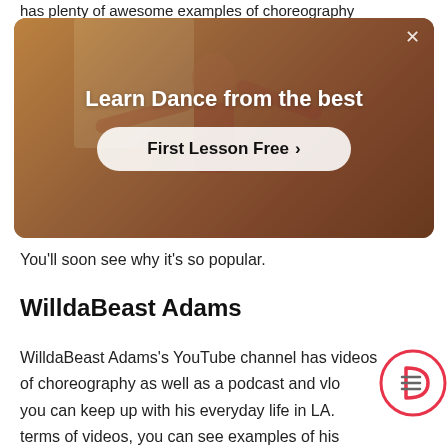has plenty of awesome examples of choreography
[Figure (photo): Advertisement banner showing a dancer in a studio with text 'Learn Dance from the best' and a 'First Lesson Free >' button. A close (×) button is in the top right corner.]
You'll soon see why it's so popular.
WilldaBeast Adams
WilldaBeast Adams's YouTube channel has videos of choreography as well as a podcast and vlo... you can keep up with his everyday life in LA. ... terms of videos, you can see examples of his